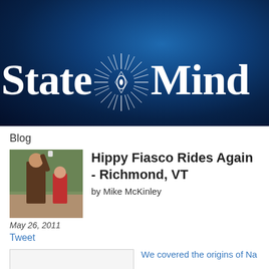[Figure (logo): State of Mind website header banner with dark blue radial gradient background and white serif text reading 'State of Mind' with a decorative starburst/sunburst icon between the words]
Blog
[Figure (photo): Small thumbnail photo of a person outdoors, appearing to hold something up, with trees in the background]
Hippy Fiasco Rides Again - Richmond, VT
by Mike McKinley
May 26, 2011
Tweet
We covered the origins of Na